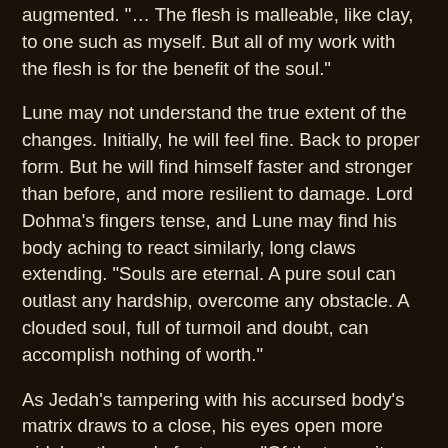augmented. "… The flesh is malleable, like clay, to one such as myself. But all of my work with the flesh is for the benefit of the soul."
Lune may not understand the true extent of the changes. Initially, he will feel fine. Back to proper form. But he will find himself faster and stronger than before, and more resilient to damage. Lord Dohma's fingers tense, and Lune may find his body aching to react similarly, long claws extending. "Souls are eternal. A pure soul can outlast any hardship, overcome any obstacle. A clouded soul, full of turmoil and doubt, can accomplish nothing of worth."
As Jedah's tampering with his accursed body's matrix draws to a close, his eyes open more widely -- the end of a trance. "Of the two… it should become clear that I have judged your souls worthy of the Black Messiah's blessings. Lady Renard's faith in you extends to me, as well." Lune's strength comes with an added cost, it would seem: the contract, the expectation of obedience. And quite possibly, the